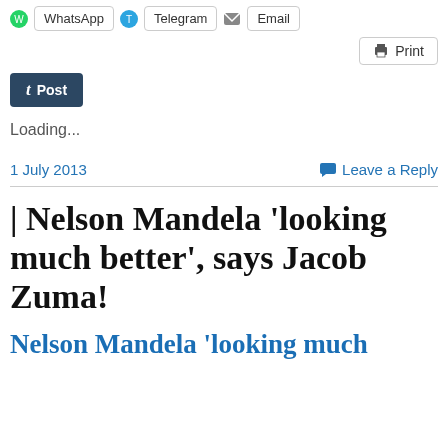[Figure (screenshot): Social share buttons: WhatsApp, Telegram, Email at top]
[Figure (screenshot): Print button top right]
[Figure (screenshot): Tumblr Post button]
Loading...
1 July 2013
Leave a Reply
| Nelson Mandela ‘looking much better’, says Jacob Zuma!
Nelson Mandela ‘looking much